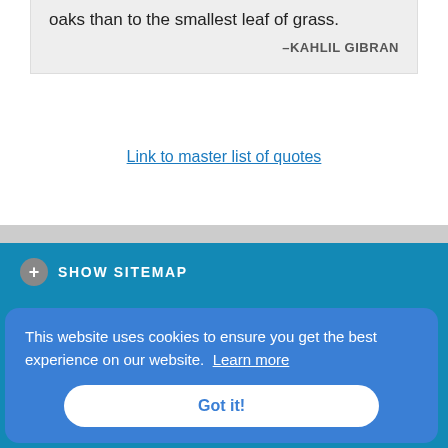oaks than to the smallest leaf of grass.
–KAHLIL GIBRAN
Link to master list of quotes
SHOW SITEMAP
This website uses cookies to ensure you get the best experience on our website. Learn more
Got it!